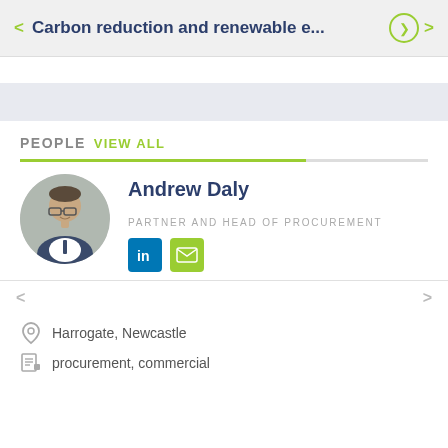Carbon reduction and renewable e...
PEOPLE VIEW ALL
Andrew Daly
PARTNER AND HEAD OF PROCUREMENT
Harrogate, Newcastle
procurement, commercial